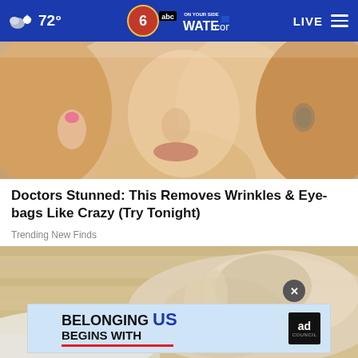72° WATE.com LIVE
[Figure (photo): Close-up photo of a blonde woman touching her face, wearing earrings and a necklace]
Doctors Stunned: This Removes Wrinkles & Eye-bags Like Crazy (Try Tonight)
Trending New Finds
[Figure (photo): Close-up photo of hands touching a person's foot on a light wood floor background]
[Figure (infographic): Ad banner: BELONGING BEGINS WITH US - Ad Council advertisement]